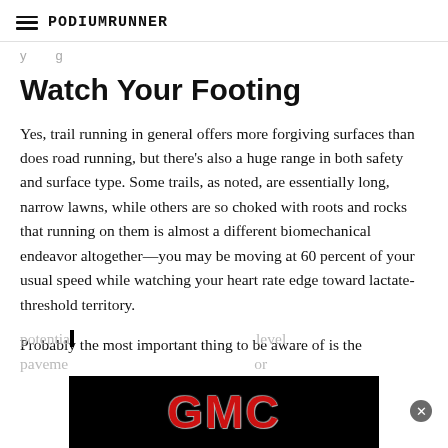PodiumRunner
y g
Watch Your Footing
Yes, trail running in general offers more forgiving surfaces than does road running, but there's also a huge range in both safety and surface type. Some trails, as noted, are essentially long, narrow lawns, while others are so choked with roots and rocks that running on them is almost a different biomechanical endeavor altogether—you may be moving at 60 percent of your usual speed while watching your heart rate edge toward lactate-threshold territory.
Probably the most important thing to be aware of is the potential level pavement or
[Figure (other): GMC advertisement banner overlay with red GMC logo text on black background]